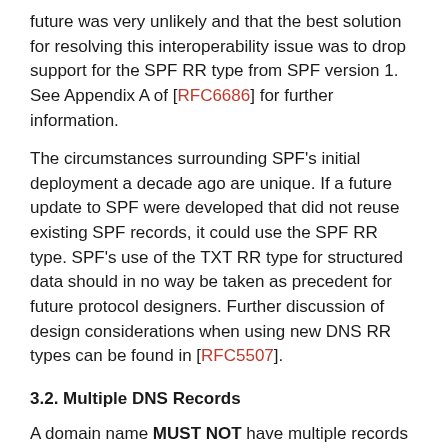future was very unlikely and that the best solution for resolving this interoperability issue was to drop support for the SPF RR type from SPF version 1. See Appendix A of [RFC6686] for further information.
The circumstances surrounding SPF's initial deployment a decade ago are unique. If a future update to SPF were developed that did not reuse existing SPF records, it could use the SPF RR type. SPF's use of the TXT RR type for structured data should in no way be taken as precedent for future protocol designers. Further discussion of design considerations when using new DNS RR types can be found in [RFC5507].
3.2. Multiple DNS Records
A domain name MUST NOT have multiple records that would cause an authorization check to select more than one record. See Section 4.5 for the selection rules.
3.3. Multiple Strings in a Single DNS Record